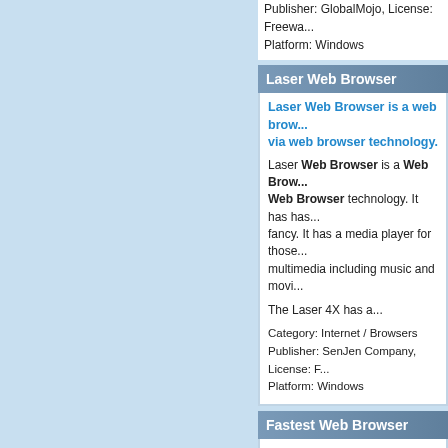Publisher: GlobalMojo, License: Freewa...
Platform: Windows
Laser Web Browser
Laser Web Browser is a web brow... via web browser technology.
Laser Web Browser is a Web Brow... Web Browser technology. It has has... fancy. It has a media player for those... multimedia including music and movi...
The Laser 4X has a...
Category: Internet / Browsers
Publisher: SenJen Company, License: F...
Platform: Windows
Fastest Web Browser
Fastest Web Browser is a free tabl...
Fastest Web Browser is a free tabbe... Browser, fast and very handy.
Category: Internet / Browsers
Publisher: fastestwebbrowser.com, Lice...
Platform: Windows, Vista
PaganRadio Toolbar